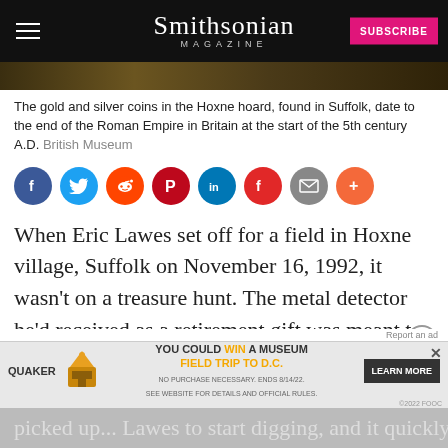Smithsonian Magazine
[Figure (photo): Partial image of Hoxne hoard coins]
The gold and silver coins in the Hoxne hoard, found in Suffolk, date to the end of the Roman Empire in Britain at the start of the 5th century A.D. British Museum
[Figure (infographic): Social sharing icons: Facebook, Twitter, Reddit, Pinterest, LinkedIn, Flipboard, Email, More]
When Eric Lawes set off for a field in Hoxne village, Suffolk on November 16, 1992, it wasn't on a treasure hunt. The metal detector he'd received as a retirement gift was meant to find hammer lost on the farmland. But the detector picked up... Lawes to start digging, and it quickly became